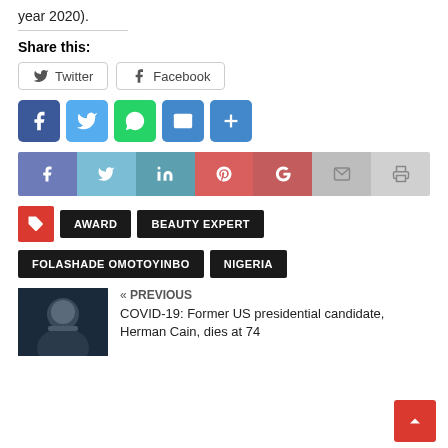year 2020).
Share this:
[Figure (screenshot): Social share buttons: Twitter and Facebook with border outlines]
[Figure (infographic): Social media icon buttons row: Facebook (blue), Twitter (light blue), WhatsApp (green), Email (blue), Plus (blue)]
[Figure (infographic): Social share bar with icons: Facebook, Twitter, LinkedIn, Pinterest, Google+, Email, Print]
[Figure (infographic): Tag icon (red) followed by tag pills: AWARD, BEAUTY EXPERT on first row; FOLASHADE OMOTOYINBO, NIGERIA on second row]
[Figure (photo): Thumbnail photo of Herman Cain, a man with his hand near his chin against a dark background]
« PREVIOUS
COVID-19: Former US presidential candidate, Herman Cain, dies at 74